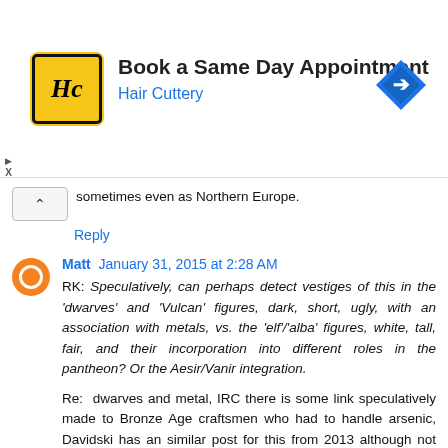[Figure (other): Hair Cuttery advertisement banner: HC logo (yellow square with black border), heading 'Book a Same Day Appointment', subheading 'Hair Cuttery' in blue, blue diamond navigation icon on the right, play/close ad controls on left]
sometimes even as Northern Europe.
Reply
Matt  January 31, 2015 at 2:28 AM
RK: Speculatively, can perhaps detect vestiges of this in the 'dwarves' and 'Vulcan' figures, dark, short, ugly, with an association with metals, vs. the 'elf'/'alba' figures, white, tall, fair, and their incorporation into different roles in the pantheon? Or the Aesir/Vanir integration.
Re: dwarves and metal, IRC there is some link speculatively made to Bronze Age craftsmen who had to handle arsenic, Davidski has an similar post for this from 2013 although not focused on the arsenic idea. Although Europe used tin bronzes.